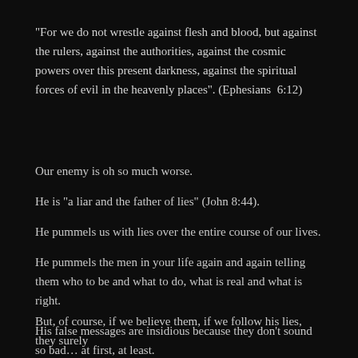“For we do not wrestle against flesh and blood, but against the rulers, against the authorities, against the cosmic powers over this present darkness, against the spiritual forces of evil in the heavenly places”. (Ephesians  6:12)
Our enemy is oh so much worse.
He is “a liar and the father of lies” (John 8:44).
He pummels us with lies over the entire course of our lives.
He pummels the men in your life again and again telling them who to be and what to do, what is real and what is right.
His false messages are insidious because they don’t sound so bad… at first, at least.
But, of course, if we believe them, if we follow his lies, they surely